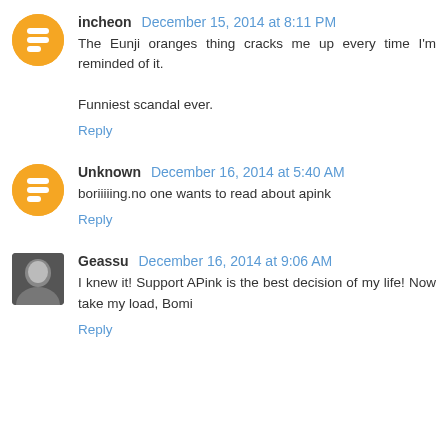incheon December 15, 2014 at 8:11 PM
The Eunji oranges thing cracks me up every time I'm reminded of it.

Funniest scandal ever.
Reply
Unknown December 16, 2014 at 5:40 AM
boriiiiing.no one wants to read about apink
Reply
Geassu December 16, 2014 at 9:06 AM
I knew it! Support APink is the best decision of my life! Now take my load, Bomi
Reply